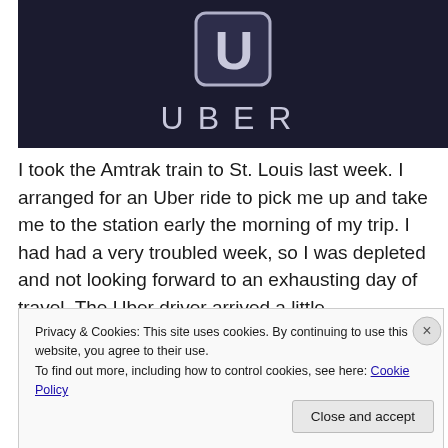[Figure (logo): Uber logo on dark background showing the Uber 'U' icon and the word UBER in wide-spaced letters]
I took the Amtrak train to St. Louis last week. I arranged for an Uber ride to pick me up and take me to the station early the morning of my trip. I had had a very troubled week, so I was depleted and not looking forward to an exhausting day of travel. The Uber driver arrived a little
Privacy & Cookies: This site uses cookies. By continuing to use this website, you agree to their use.
To find out more, including how to control cookies, see here: Cookie Policy
Close and accept